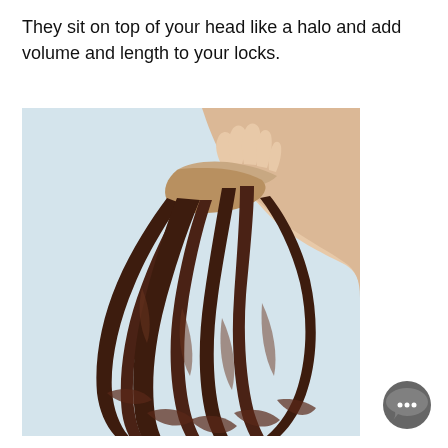They sit on top of your head like a halo and add volume and length to your locks.
[Figure (photo): A hand holding a halo hair extension piece with long, dark brown wavy hair cascading down, against a light blue-grey background.]